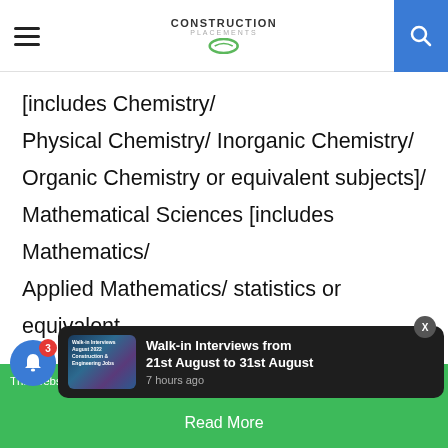Construction Placements
[includes Chemistry/ Physical Chemistry/ Inorganic Chemistry/ Organic Chemistry or equivalent subjects]/ Mathematical Sciences [includes Mathematics/ Applied Mathematics/ statistics or equivalent subjects] with at least 55% marks for General and OBC Category (50% for SC, ST, and Physically Handicapped Category).
This website uses cookies. ok with this | Walk-in Interviews from 21st August to 31st August | 7 hours ago | Read More